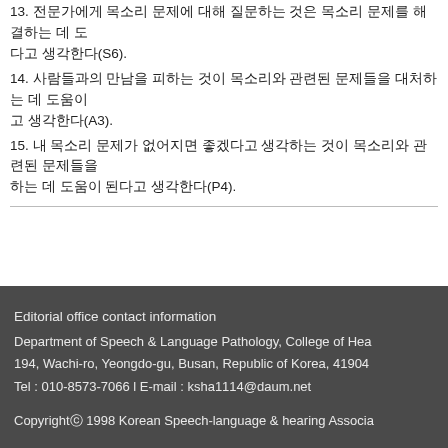13. 전문가에게 목소리 문제에 대해 질문하는 것은 목소리 문제를 해결하는 데 도움이 된다고 생각한다(S6).
14. 사람들과의 만남을 피하는 것이 목소리와 관련된 문제들을 대처하는 데 도움이 된다고 생각한다(A3).
15. 내 목소리 문제가 없어지면 좋겠다고 생각하는 것이 목소리와 관련된 문제들을 대처하는 데 도움이 된다고 생각한다(P4).
Editorial office contact information
Department of Speech & Language Pathology, College of Hea
194, Wachi-ro, Yeongdo-gu, Busan, Republic of Korea, 41904
Tel : 010-8573-7066 l E-mail : ksha1114@daum.net
Copyrightⓒ 1998 Korean Speech-language & hearing Associa